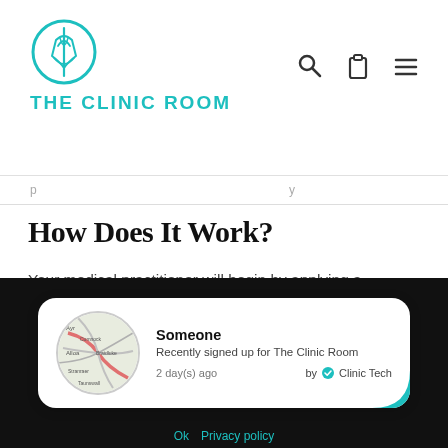[Figure (logo): The Clinic Room logo with teal circular emblem and stylized figure, with teal uppercase text 'THE CLINIC ROOM' below]
p y
How Does It Work?
Your medical practitioner will begin by applying a numbing agent to the area and will then proceed to inject Dermal Filler along the jawline using a needle or cannula, to create a more defined and contoured finished look. Many of our clients opt to have the Jawline Augmentation treatment alongside other treatments such as the Chin
[Figure (infographic): Notification popup card showing 'Someone Recently signed up for The Clinic Room' with a map thumbnail, '2 day(s) ago' and 'by Clinic Tech' with teal verified badge]
Ok   Privacy policy